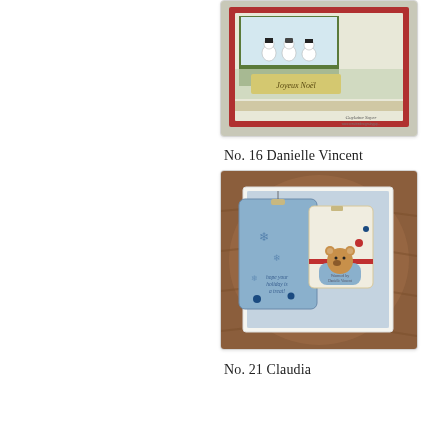[Figure (photo): Christmas card photo showing snowman characters on a sled with 'Joyeux Noel' text, signed by Guylaine Soyer]
No. 16 Danielle Vincent
[Figure (photo): Holiday card photo showing gift tags with bear in a cup and 'hope your holiday is a treat' text, on wooden background]
No. 21 Claudia